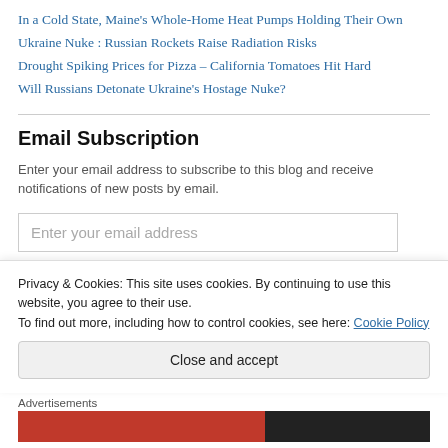In a Cold State, Maine's Whole-Home Heat Pumps Holding Their Own
Ukraine Nuke : Russian Rockets Raise Radiation Risks
Drought Spiking Prices for Pizza – California Tomatoes Hit Hard
Will Russians Detonate Ukraine's Hostage Nuke?
Email Subscription
Enter your email address to subscribe to this blog and receive notifications of new posts by email.
Enter your email address
Privacy & Cookies: This site uses cookies. By continuing to use this website, you agree to their use. To find out more, including how to control cookies, see here: Cookie Policy
Close and accept
Advertisements